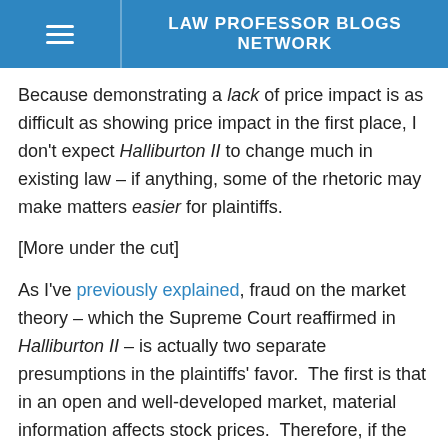LAW PROFESSOR BLOGS NETWORK
Because demonstrating a lack of price impact is as difficult as showing price impact in the first place, I don't expect Halliburton II to change much in existing law – if anything, some of the rhetoric may make matters easier for plaintiffs.
[More under the cut]
As I've previously explained, fraud on the market theory – which the Supreme Court reaffirmed in Halliburton II – is actually two separate presumptions in the plaintiffs' favor.  The first is that in an open and well-developed market, material information affects stock prices.  Therefore, if the defendant issues false material information, the relevant stock prices will be distorted.  The second presumption is that investors who trade in such a